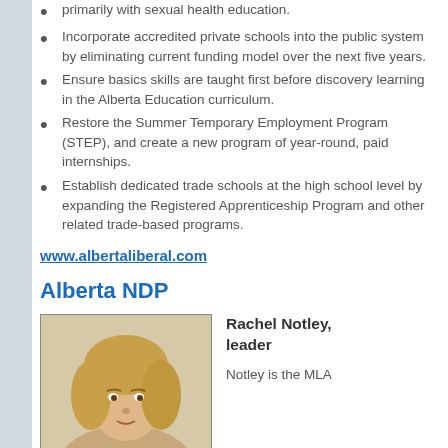primarily with sexual health education.
Incorporate accredited private schools into the public system by eliminating current funding model over the next five years.
Ensure basics skills are taught first before discovery learning in the Alberta Education curriculum.
Restore the Summer Temporary Employment Program (STEP), and create a new program of year-round, paid internships.
Establish dedicated trade schools at the high school level by expanding the Registered Apprenticeship Program and other related trade-based programs.
www.albertaliberal.com
Alberta NDP
[Figure (photo): Portrait photo of Rachel Notley, a woman with blonde hair.]
Rachel Notley, leader
Notley is the MLA